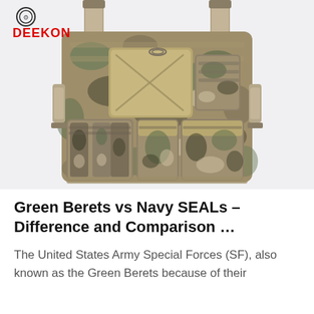[Figure (photo): Multicam camouflage tactical plate carrier vest with MOLLE webbing, pouches for magazines, and shoulder straps shown from the front. DEEKON logo with circular icon appears in the top-left corner.]
Green Berets vs Navy SEALs – Difference and Comparison …
The United States Army Special Forces (SF), also known as the Green Berets because of their